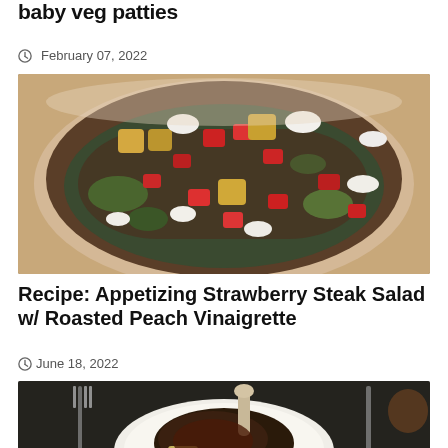baby veg patties
February 07, 2022
[Figure (photo): Overhead view of a bowl salad with strawberries, croutons, white cheese crumbles, and dark greens]
Recipe: Appetizing Strawberry Steak Salad w/ Roasted Peach Vinaigrette
June 18, 2022
[Figure (photo): Plate with a braised meat dish and a fork and knife on a dark table setting, partially visible]